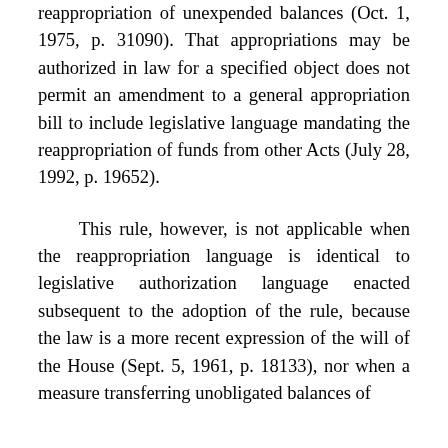reappropriation of unexpended balances (Oct. 1, 1975, p. 31090). That appropriations may be authorized in law for a specified object does not permit an amendment to a general appropriation bill to include legislative language mandating the reappropriation of funds from other Acts (July 28, 1992, p. 19652).
This rule, however, is not applicable when the reappropriation language is identical to legislative authorization language enacted subsequent to the adoption of the rule, because the law is a more recent expression of the will of the House (Sept. 5, 1961, p. 18133), nor when a measure transferring unobligated balances of appropriations is adopted for departmental...